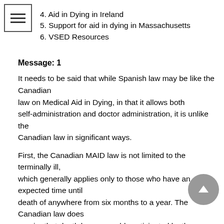4. Aid in Dying in Ireland
5. Support for aid in dying in Massachusetts
6. VSED Resources
Message: 1
It needs to be said that while Spanish law may be like the Canadian law on Medical Aid in Dying, in that it allows both self-administration and doctor administration, it is unlike the Canadian law in significant ways.
First, the Canadian MAID law is not limited to the terminally ill, which generally applies only to those who have an expected time until death of anywhere from six months to a year. The Canadian law does require that death be reasonably anticipated by the condition